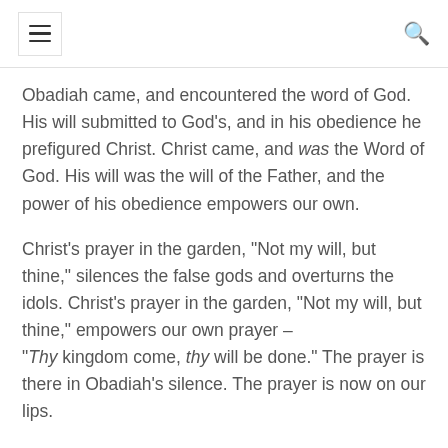[hamburger menu] [search icon]
Obadiah came, and encountered the word of God. His will submitted to God's, and in his obedience he prefigured Christ. Christ came, and was the Word of God. His will was the will of the Father, and the power of his obedience empowers our own.
Christ's prayer in the garden, “Not my will, but thine,” silences the false gods and overturns the idols. Christ’s prayer in the garden, “Not my will, but thine,” empowers our own prayer – “Thy kingdom come, thy will be done.” The prayer is there in Obadiah’s silence. The prayer is now on our lips.
And so we pray, and we pray, and we pray, and we pray … and we teach our children to pray, just as we